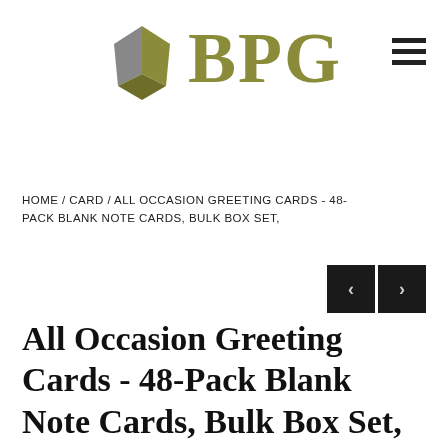[Figure (logo): BPG logo with a stylized open book icon in gray and olive green, and the text 'BPG' in large olive/gold serif letters]
HOME / CARD / ALL OCCASION GREETING CARDS - 48-PACK BLANK NOTE CARDS, BULK BOX SET,
[Figure (other): Navigation previous/next arrow buttons with dark background]
All Occasion Greeting Cards - 48-Pack Blank Note Cards, Bulk Box Set, 6 Fall Nature Autumn Designs, Assorted Trees and Leaves Photographs, Brown Kraft Paper Envelopes